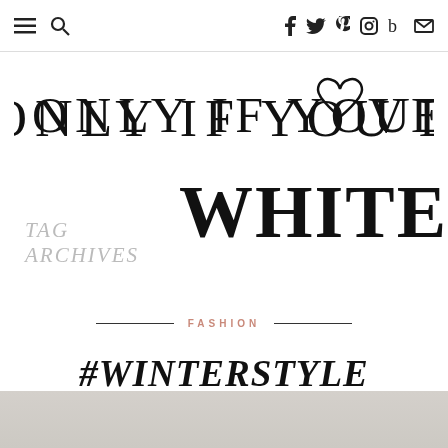≡ 🔍  [navigation icons: f, twitter, pinterest, instagram, bloglovin, mail]
ONLY IF YOU LOVE IT
TAG ARCHIVES WHITE
FASHION
#WINTERSTYLE
[Figure (photo): Light grey/beige background image strip at the bottom of the page]